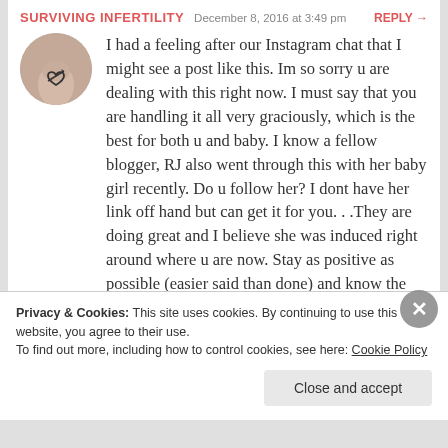SURVIVING INFERTILITY   December 8, 2016 at 3:49 pm   REPLY →
[Figure (photo): Circular avatar photo showing a wrist with a tattoo of a heart]
I had a feeling after our Instagram chat that I might see a post like this. Im so sorry u are dealing with this right now. I must say that you are handling it all very graciously, which is the best for both u and baby. I know a fellow blogger, RJ also went through this with her baby girl recently. Do u follow her? I dont have her link off hand but can get it for you. . .They are doing great and I believe she was induced right around where u are now. Stay as positive as possible (easier said than done) and know the end is near, she will be here soon. U are doing great!
Privacy & Cookies: This site uses cookies. By continuing to use this website, you agree to their use.
To find out more, including how to control cookies, see here: Cookie Policy
Close and accept